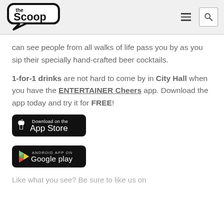the Scoop
can see people from all walks of life pass you by as you sip their specially hand-crafted beer cocktails.
1-for-1 drinks are not hard to come by in City Hall when you have the ENTERTAINER Cheers app. Download the app today and try it for FREE!
[Figure (logo): Download on the App Store button (black rounded rectangle)]
[Figure (logo): Android App on Google Play button (black rounded rectangle with Google Play logo)]
Like what you see? Be sure to like us on